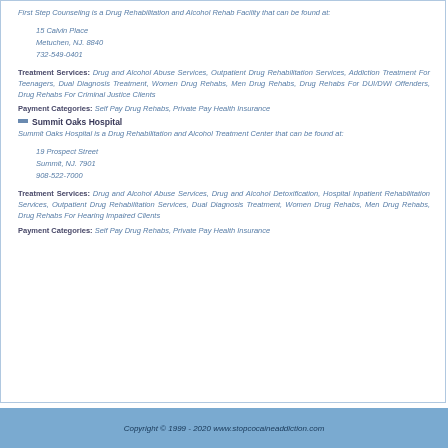First Step Counseling is a Drug Rehabilitation and Alcohol Rehab Facility that can be found at:
15 Calvin Place
Metuchen, NJ. 8840
732-549-0401
Treatment Services: Drug and Alcohol Abuse Services, Outpatient Drug Rehabilitation Services, Addiction Treatment For Teenagers, Dual Diagnosis Treatment, Women Drug Rehabs, Men Drug Rehabs, Drug Rehabs For DUI/DWI Offenders, Drug Rehabs For Criminal Justice Clients
Payment Categories: Self Pay Drug Rehabs, Private Pay Health Insurance
Summit Oaks Hospital
Summit Oaks Hospital is a Drug Rehabilitation and Alcohol Treatment Center that can be found at:
19 Prospect Street
Summit, NJ. 7901
908-522-7000
Treatment Services: Drug and Alcohol Abuse Services, Drug and Alcohol Detoxification, Hospital Inpatient Rehabilitation Services, Outpatient Drug Rehabilitation Services, Dual Diagnosis Treatment, Women Drug Rehabs, Men Drug Rehabs, Drug Rehabs For Hearing Impaired Clients
Payment Categories: Self Pay Drug Rehabs, Private Pay Health Insurance
Copyright © 1999 - 2020 www.stopcocaineaddiction.com